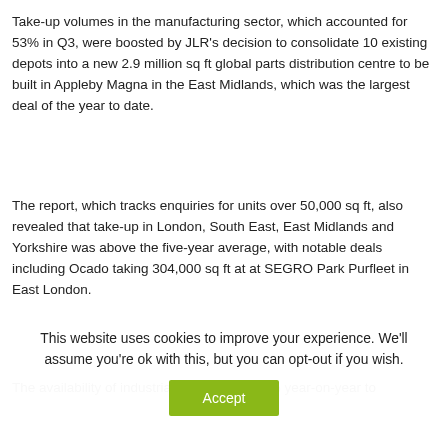Take-up volumes in the manufacturing sector, which accounted for 53% in Q3, were boosted by JLR's decision to consolidate 10 existing depots into a new 2.9 million sq ft global parts distribution centre to be built in Appleby Magna in the East Midlands, which was the largest deal of the year to date.
The report, which tracks enquiries for units over 50,000 sq ft, also revealed that take-up in London, South East, East Midlands and Yorkshire was above the five-year average, with notable deals including Ocado taking 304,000 sq ft at at SEGRO Park Purfleet in East London.
The availability of industrial stock rose by 6% year-on-year to
This website uses cookies to improve your experience. We'll assume you're ok with this, but you can opt-out if you wish.